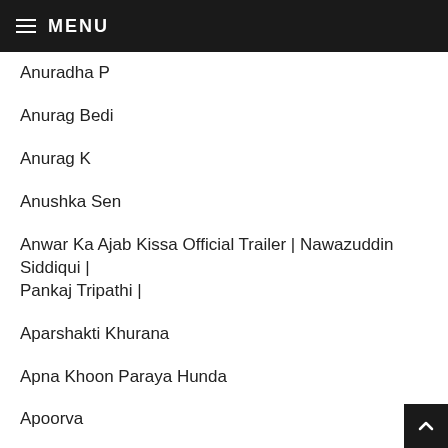MENU
Anuradha P
Anurag Bedi
Anurag K
Anushka Sen
Anwar Ka Ajab Kissa Official Trailer | Nawazuddin Siddiqui | Pankaj Tripathi |
Aparshakti Khurana
Apna Khoon Paraya Hunda
Apoorva
Arishfa
Arjan Dhillon - My Fellas
Arjun Kanungo
Arjun Kapoor